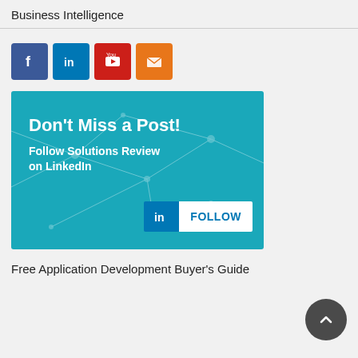Business Intelligence
[Figure (infographic): Social media icon buttons: Facebook (blue), LinkedIn (blue), YouTube (red), Email (orange)]
[Figure (infographic): Promotional banner on teal background with network graph overlay: 'Don't Miss a Post! Follow Solutions Review on LinkedIn' with a LinkedIn Follow button]
Free Application Development Buyer's Guide